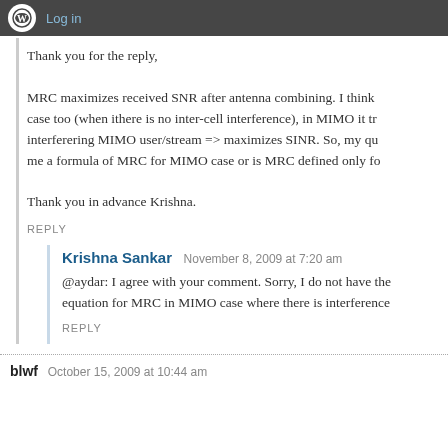Log in
Thank you for the reply,

MRC maximizes received SNR after antenna combining. I think case too (when ithere is no inter-cell interference), in MIMO it tr interferering MIMO user/stream => maximizes SINR. So, my qu me a formula of MRC for MIMO case or is MRC defined only fo

Thank you in advance Krishna.
REPLY
Krishna Sankar  November 8, 2009 at 7:20 am
@aydar: I agree with your comment. Sorry, I do not have the equation for MRC in MIMO case where there is interference
REPLY
blwf  October 15, 2009 at 10:44 am